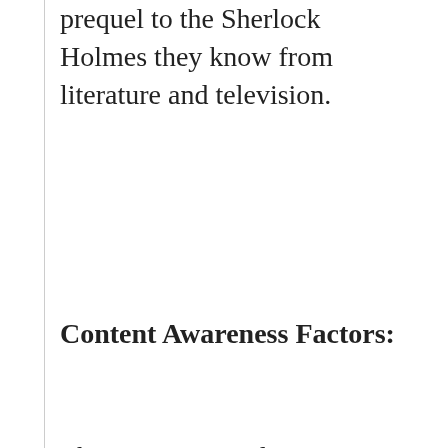prequel to the Sherlock Holmes they know from literature and television.
Content Awareness Factors:
There is some violence, including bully attacks and a secret ritual (don't want to give it away). They are not graphically detailed but may make some young